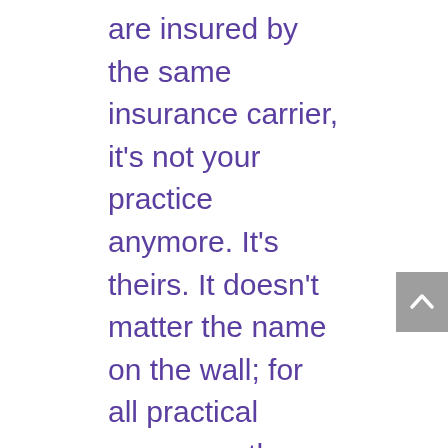are insured by the same insurance carrier, it's not your practice anymore. It's theirs. It doesn't matter the name on the wall; for all practical purposes, the insurance company controls you.
Further, managed care companies now offer to pay physicians less and less for their work. Many physicians have had to move their practices under the umbrella of hospitals or other larger organizations. With